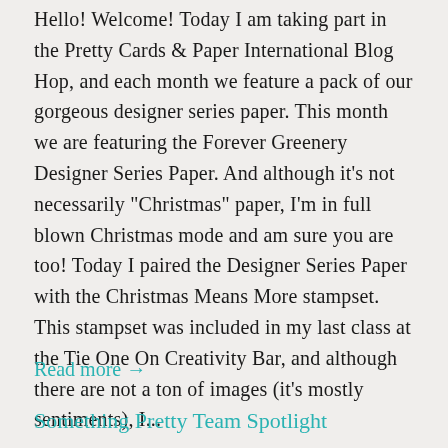Hello! Welcome!  Today I am taking part in the Pretty Cards & Paper International Blog Hop, and each month we feature a pack of our gorgeous designer series paper.  This month we are featuring the Forever Greenery Designer Series Paper.  And although it's not necessarily "Christmas" paper, I'm in full blown Christmas mode and am sure you are too! Today I paired the Designer Series Paper with the Christmas Means More stampset.  This stampset was included in my last class at the Tie One On Creativity Bar, and although there are not a ton of images (it's mostly sentiments), I...
Read more →
Something Pretty Team Spotlight